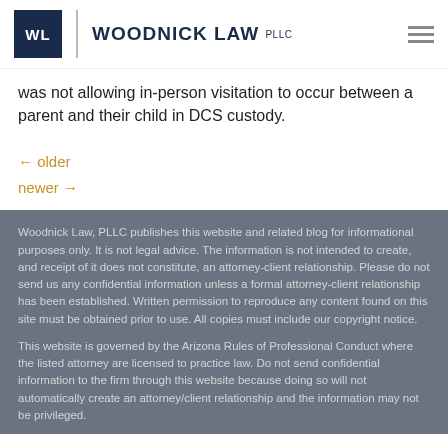WL | WOODNICK LAW PLLC
was not allowing in-person visitation to occur between a parent and their child in DCS custody.
← older
newer →
Woodnick Law, PLLC publishes this website and related blog for informational purposes only. It is not legal advice. The information is not intended to create, and receipt of it does not constitute, an attorney-client relationship. Please do not send us any confidential information unless a formal attorney-client relationship has been established. Written permission to reproduce any content found on this site must be obtained prior to use. All copies must include our copyright notice.

This website is governed by the Arizona Rules of Professional Conduct where the listed attorney are licensed to practice law. Do not send confidential information to the firm through this website because doing so will not automatically create an attorney/client relationship and the information may not be privileged.